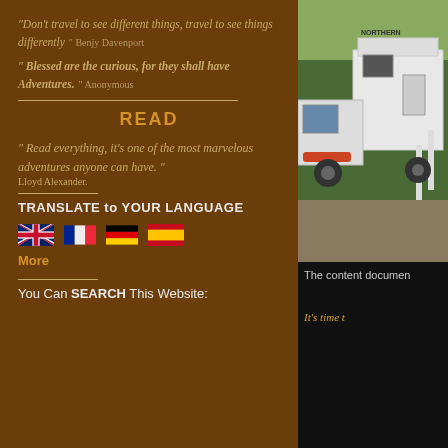"Don't travel to see different things, travel to see things differently" Benjy Davenport
" Blessed are the curious, for they shall have Adventures. " Anonymous
READ
" Read everything, it's one of the most marvelous adventures anyone can have." Lloyd Alexander.
TRANSLATE to YOUR LANGUAGE
[Figure (illustration): Four country flags: UK (Union Jack), France (tricolor), Germany (black-red-gold), Spain (red-yellow-red stripes with coat of arms)]
More
You Can SEARCH This Website:
[Figure (photo): White Northern camper/RV truck parked outdoors with green trees in background]
The content documen
It's time t